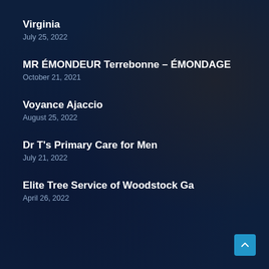Virginia
July 25, 2022
MR ÉMONDEUR Terrebonne – ÉMONDAGE
October 21, 2021
Voyance Ajaccio
August 25, 2022
Dr T's Primary Care for Men
July 21, 2022
Elite Tree Service of Woodstock Ga
April 26, 2022